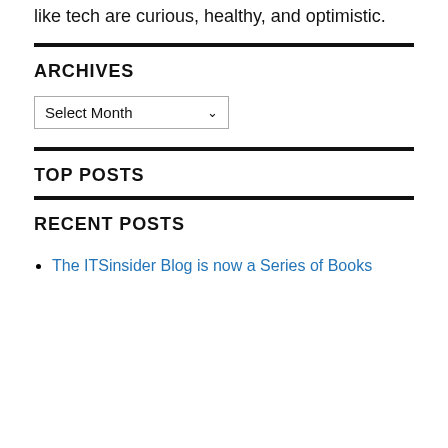like tech are curious, healthy, and optimistic.
ARCHIVES
[Figure (other): A dropdown select box labeled 'Select Month' with a downward arrow]
TOP POSTS
RECENT POSTS
The ITSinsider Blog is now a Series of Books